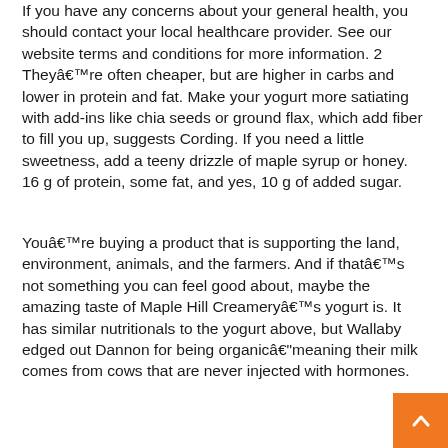If you have any concerns about your general health, you should contact your local healthcare provider. See our website terms and conditions for more information. 2 Theyâ€™re often cheaper, but are higher in carbs and lower in protein and fat. Make your yogurt more satiating with add-ins like chia seeds or ground flax, which add fiber to fill you up, suggests Cording. If you need a little sweetness, add a teeny drizzle of maple syrup or honey. 16 g of protein, some fat, and yes, 10 g of added sugar.
Youâ€™re buying a product that is supporting the land, environment, animals, and the farmers. And if thatâ€™s not something you can feel good about, maybe the amazing taste of Maple Hill Creameryâ€™s yogurt is. It has similar nutritionals to the yogurt above, but Wallaby edged out Dannon for being organicâ€“meaning their milk comes from cows that are never injected with hormones.